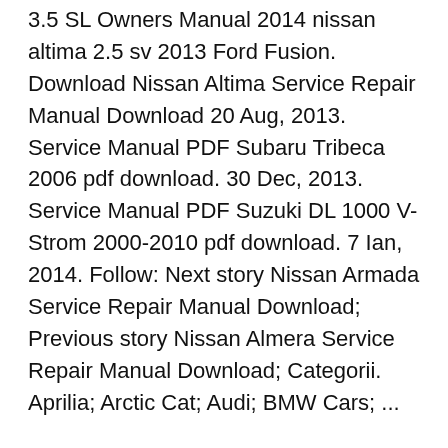3.5 SL Owners Manual 2014 nissan altima 2.5 sv 2013 Ford Fusion. Download Nissan Altima Service Repair Manual Download 20 Aug, 2013. Service Manual PDF Subaru Tribeca 2006 pdf download. 30 Dec, 2013. Service Manual PDF Suzuki DL 1000 V-Strom 2000-2010 pdf download. 7 Ian, 2014. Follow: Next story Nissan Armada Service Repair Manual Download; Previous story Nissan Almera Service Repair Manual Download; Categorii. Aprilia; Arctic Cat; Audi; BMW Cars; ...
Download Nissan Altima Service Repair Manual Download 20 Aug, 2013. Service Manual PDF Subaru Tribeca 2006 pdf download. 30 Dec, 2013. Service Manual PDF Suzuki DL 1000 V-Strom 2000-2010 pdf download. 7 Ian, 2014. Follow: